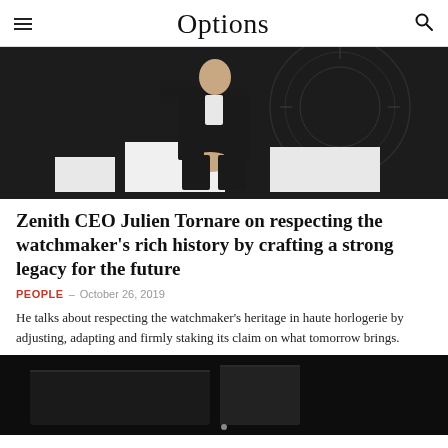Options
[Figure (photo): Black and white photo of a man in a dark suit sitting on a white surface, with a decorative clock mechanism in the background]
Zenith CEO Julien Tornare on respecting the watchmaker's rich history by crafting a strong legacy for the future
PEOPLE – October 26, 2019
He talks about respecting the watchmaker's heritage in haute horlogerie by adjusting, adapting and firmly staking its claim on what tomorrow brings.
[Figure (photo): Close-up dark photo of watch mechanism or watch display]